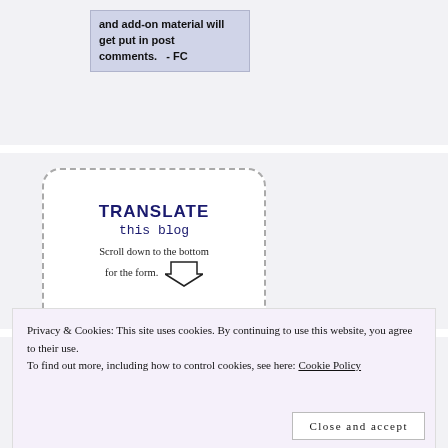and add-on material will get put in post comments. - FC
[Figure (illustration): Widget/badge with dashed border and rounded corners reading 'TRANSLATE this blog — Scroll down to the bottom for the form.' with a downward arrow icon]
RECENT COMMENTS
Privacy & Cookies: This site uses cookies. By continuing to use this website, you agree to their use.
To find out more, including how to control cookies, see here: Cookie Policy
Close and accept
flyingcuttlefish on CLINTON EMAILS REVEAL CLOSE TI…